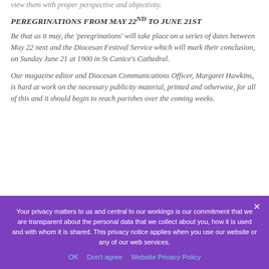view them with proper perspective and objectivity.
PEREGRINATIONS FROM MAY 22ND TO JUNE 21ST
Be that as it may, the 'peregrinations' will take place on a series of dates between May 22 next and the Diocesan Festival Service which will mark their conclusion, on Sunday June 21 at 1900 in St Canice's Cathedral.
Our magazine editor and Diocesan Communications Officer, Margaret Hawkins, is hard at work on the necessary publicity material, printed and otherwise, for all of this and it should begin to reach parishes over the coming weeks.
Your privacy matters to us and central to our workings is our commitment that we are transparent about the personal data that we collect about you, how it is used and with whom it is shared. This privacy notice applies when you use our website or any of our web services.
OK   Don't agree   Website Privacy Policy